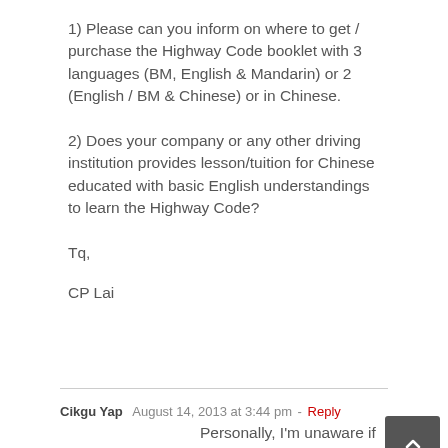1) Please can you inform on where to get / purchase the Highway Code booklet with 3 languages (BM, English & Mandarin) or 2 (English / BM & Chinese) or in Chinese.
2) Does your company or any other driving institution provides lesson/tuition for Chinese educated with basic English understandings to learn the Highway Code?
Tq,
CP Lai
Cikgu Yap  August 14, 2013 at 3:44 pm - Reply
Personally, I'm unaware if there's such a book in the market. No, we